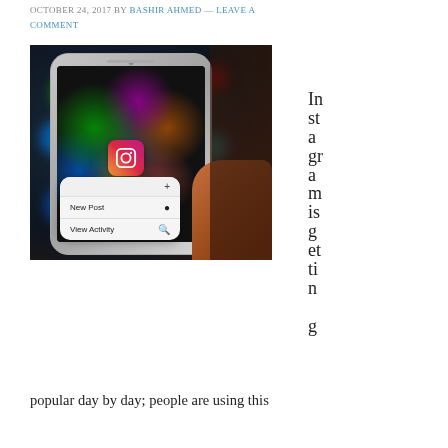OCTOBER 24, 2017 BY BASHIR AHMED — LEAVE A COMMENT
[Figure (photo): A hand holding a smartphone with the Instagram app icon visible and a popup menu showing 'New Post' and 'View Activity' options, with colorful bokeh lights visible on the phone screen.]
Instagram is getting
popular day by day; people are using this